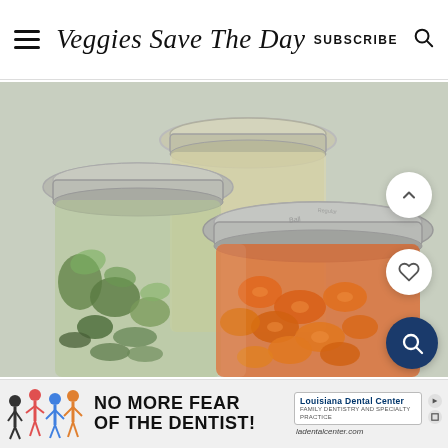Veggies Save The Day  SUBSCRIBE
[Figure (photo): Three mason jars with metal lids containing pickled vegetables: green cucumbers/zucchini on the left, yellow/clear brine in the middle, and orange sliced carrots on the right foreground, on a light background]
[Figure (infographic): Advertisement banner: children jumping illustration on left, bold text 'NO MORE FEAR OF THE DENTIST!', Louisiana Dental Center logo on right, URL ladentalcenter.com]